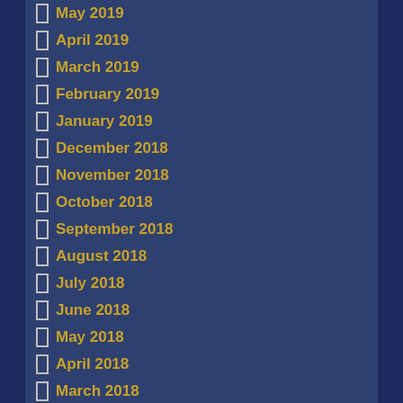May 2019
April 2019
March 2019
February 2019
January 2019
December 2018
November 2018
October 2018
September 2018
August 2018
July 2018
June 2018
May 2018
April 2018
March 2018
February 2018
January 2018
December 2017